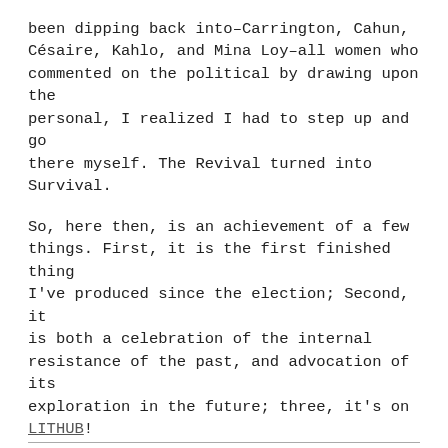been dipping back into–Carrington, Cahun, Césaire, Kahlo, and Mina Loy–all women who commented on the political by drawing upon the personal, I realized I had to step up and go there myself. The Revival turned into Survival.
So, here then, is an achievement of a few things. First, it is the first finished thing I've produced since the election; Second, it is both a celebration of the internal resistance of the past, and advocation of its exploration in the future; three, it's on LITHUB!
I hope you'll take a few minutes to check it out, and if you liked it, please share it widely with your friends on Facebook and Twitter!